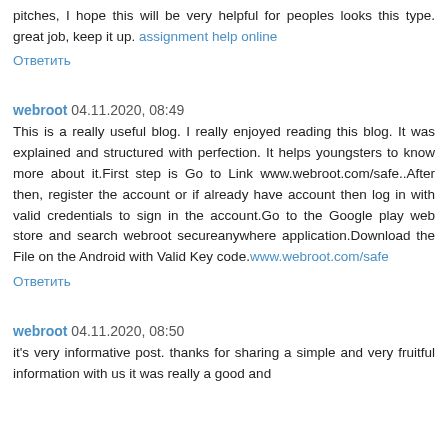pitches, I hope this will be very helpful for peoples looks this type. great job, keep it up. assignment help online
Ответить
webroot 04.11.2020, 08:49
This is a really useful blog. I really enjoyed reading this blog. It was explained and structured with perfection. It helps youngsters to know more about it.First step is Go to Link www.webroot.com/safe..After then, register the account or if already have account then log in with valid credentials to sign in the account.Go to the Google play web store and search webroot secureanywhere application.Download the File on the Android with Valid Key code.www.webroot.com/safe
Ответить
webroot 04.11.2020, 08:50
it's very informative post. thanks for sharing a simple and very fruitful information with us it was really a good and